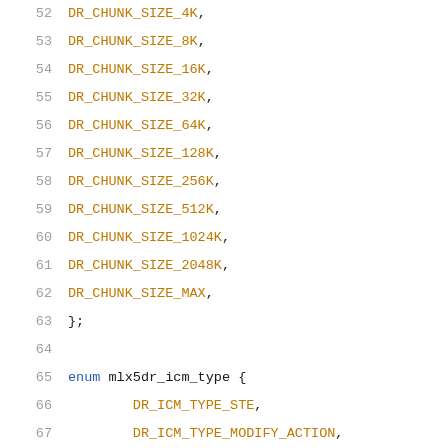52   DR_CHUNK_SIZE_4K,
53   DR_CHUNK_SIZE_8K,
54   DR_CHUNK_SIZE_16K,
55   DR_CHUNK_SIZE_32K,
56   DR_CHUNK_SIZE_64K,
57   DR_CHUNK_SIZE_128K,
58   DR_CHUNK_SIZE_256K,
59   DR_CHUNK_SIZE_512K,
60   DR_CHUNK_SIZE_1024K,
61   DR_CHUNK_SIZE_2048K,
62   DR_CHUNK_SIZE_MAX,
63 };
64
65   enum mlx5dr_icm_type {
66          DR_ICM_TYPE_STE,
67          DR_ICM_TYPE_MODIFY_ACTION,
68   };
69
70   static inline enum mlx5dr_icm_chunk_size
71   mlx5dr_icm_next_higher_chunk(enum mlx5dr_icm_ch
72   {